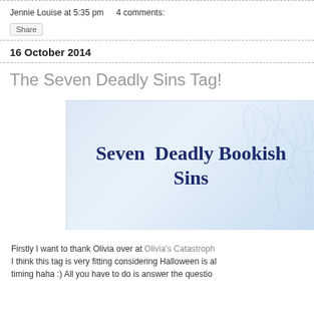Jennie Louise at 5:35 pm   4 comments:
Share
16 October 2014
The Seven Deadly Sins Tag!
[Figure (illustration): Blog banner image with light blue background, decorative tree branches, and text reading 'Seven Deadly Bookish Sins' in dark navy serif font.]
Firstly I want to thank Olivia over at Olivia's Catastroph... I think this tag is very fitting considering Halloween is al... timing haha :) All you have to do is answer the questio...